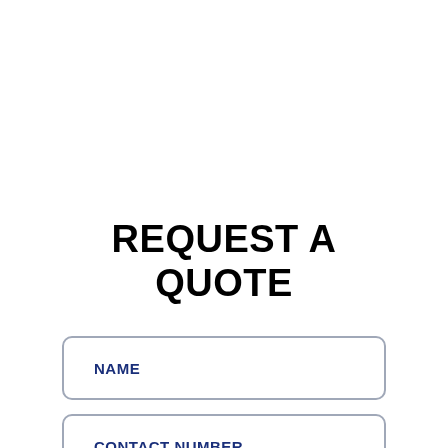REQUEST A QUOTE
NAME
CONTACT NUMBER